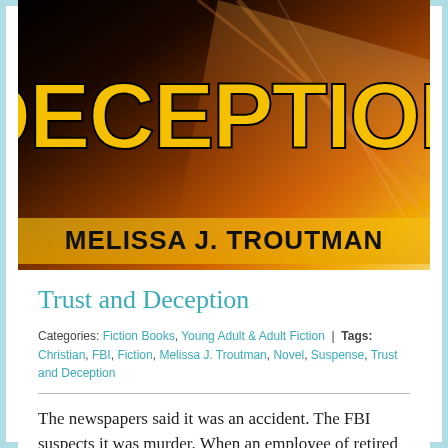[Figure (illustration): Book cover for 'Trust and Deception' by Melissa J. Troutman. Dark background with orange and yellow gradient. Large bold text 'DECEPTION' in gold/yellow at top, author name 'MELISSA J. TROUTMAN' in black bold at bottom of cover.]
Trust and Deception
Categories: Fiction Books, Young Adult & Adult Fiction | Tags: Christian, FBI, Fiction, Melissa J. Troutman, Novel, Suspense, Trust and Deception
The newspapers said it was an accident. The FBI suspects it was murder. When an employee of retired NBA star Adrian